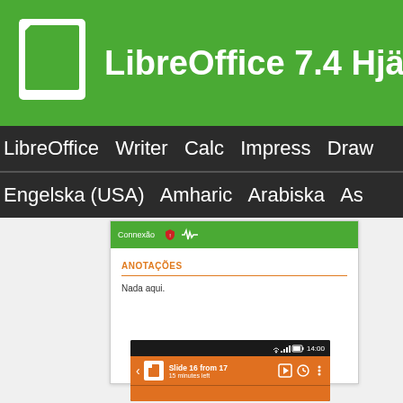LibreOffice 7.4 Hjälp
LibreOffice  Writer  Calc  Impress  Draw
Engelska (USA)  Amharic  Arabiska  As
[Figure (screenshot): Android app screenshot showing ANOTAÇÕES section with 'Nada aqui.' text, green top bar with Connexão icon]
[Figure (screenshot): Android status bar showing 'Slide 16 from 17 / 15 minutes left' notification with orange background, time 14:00]